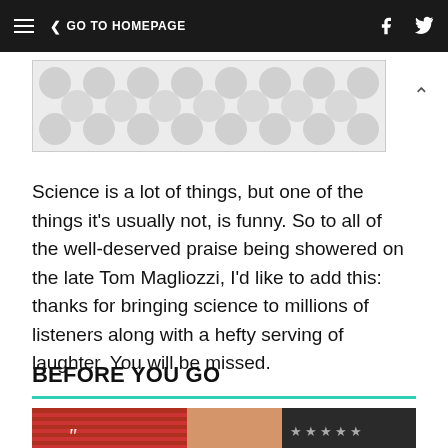≡ < GO TO HOMEPAGE
[Figure (other): Advertisement banner with grey polka dot pattern on light background]
Science is a lot of things, but one of the things it's usually not, is funny. So to all of the well-deserved praise being showered on the late Tom Magliozzi, I'd like to add this: thanks for bringing science to millions of listeners along with a hefty serving of laughter. You will be missed.
BEFORE YOU GO
[Figure (photo): Photo strip showing an American flag and stars, with a quotation mark overlay in the bottom-left corner]